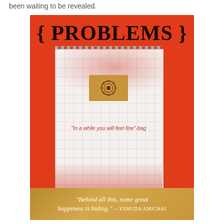been waiting to be revealed.
[Figure (photo): Photo of a product called 'PROBLEMS' - a red-covered notepad/bag with a white grid-paper inner bag, featuring a tan label card with a circular emblem, red paint splash effect, italic red text reading '"In a while you will feel fine"-bag', and a gold footer strip with the quote '"Behind all this, some great happiness is hiding." —YEHUDA AMICHAI']